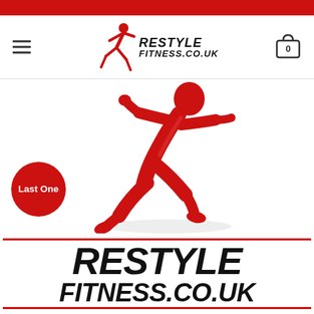[Figure (logo): Red top navigation bar]
[Figure (logo): Restyle Fitness website header with hamburger menu, logo (running man + RESTYLE FITNESS.CO.UK text), and shopping cart icon with 0]
[Figure (illustration): Red 3D running man figure on white background with 'Last One' red circle badge overlay, and large bold RESTYLE FITNESS.CO.UK text below]